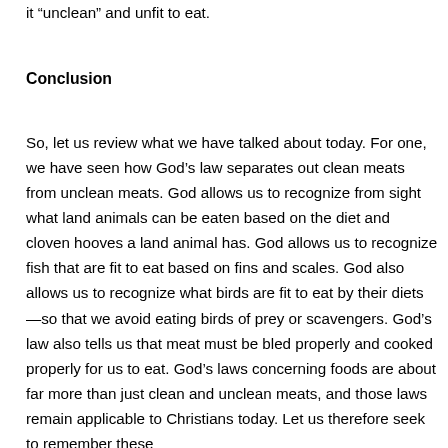it “unclean” and unfit to eat.
Conclusion
So, let us review what we have talked about today. For one, we have seen how God’s law separates out clean meats from unclean meats. God allows us to recognize from sight what land animals can be eaten based on the diet and cloven hooves a land animal has. God allows us to recognize fish that are fit to eat based on fins and scales. God also allows us to recognize what birds are fit to eat by their diets—so that we avoid eating birds of prey or scavengers. God’s law also tells us that meat must be bled properly and cooked properly for us to eat. God’s laws concerning foods are about far more than just clean and unclean meats, and those laws remain applicable to Christians today. Let us therefore seek to remember these